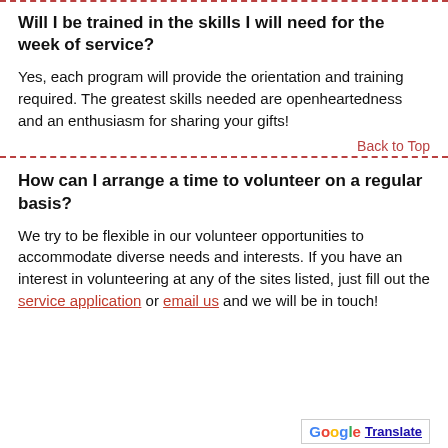Will I be trained in the skills I will need for the week of service?
Yes, each program will provide the orientation and training required. The greatest skills needed are openheartedness and an enthusiasm for sharing your gifts!
Back to Top
How can I arrange a time to volunteer on a regular basis?
We try to be flexible in our volunteer opportunities to accommodate diverse needs and interests. If you have an interest in volunteering at any of the sites listed, just fill out the service application or email us and we will be in touch!